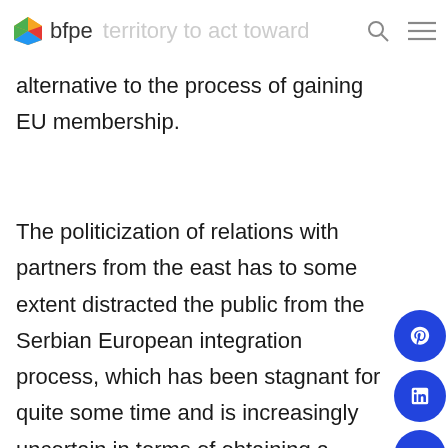bfpe
alternative to the process of gaining EU membership.
The politicization of relations with partners from the east has to some extent distracted the public from the Serbian European integration process, which has been stagnant for quite some time and is increasingly uncertain in terms of obtaining a concrete date for Serbia to become a member of the EU. Serbia's cooperation with non-EU countries is greater than ever. With a